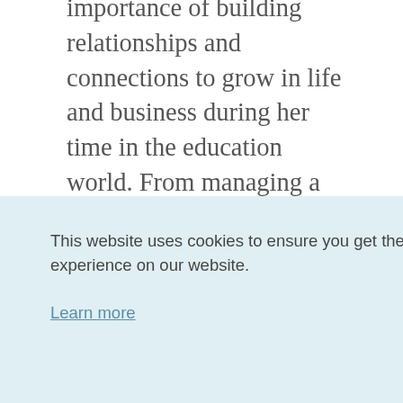importance of building relationships and connections to grow in life and business during her time in the education world. From managing a classroom, to managing professionals, requires the ability to create calm
This website uses cookies to ensure you get the best experience on our website.

Learn more
n
ns.
le
Got it!
to create and support your success is